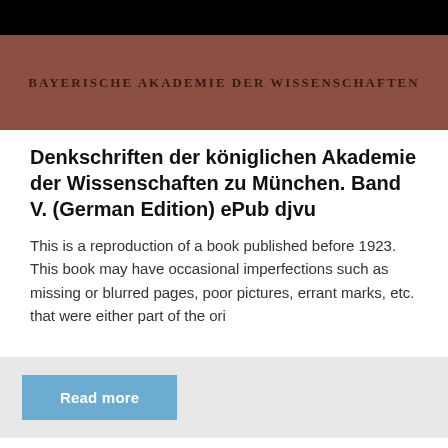[Figure (logo): Bayerische Akademie der Wissenschaften header banner with dark brown/red background and institution name in uppercase serif lettering]
Denkschriften der königlichen Akademie der Wissenschaften zu München. Band V. (German Edition) ePub djvu
This is a reproduction of a book published before 1923. This book may have occasional imperfections such as missing or blurred pages, poor pictures, errant marks, etc. that were either part of the ori
Read more
[Figure (photo): Bottom portion of a book cover with bright pink/magenta background showing large gold letters 'LINDA LAEL' with copyright watermark text]